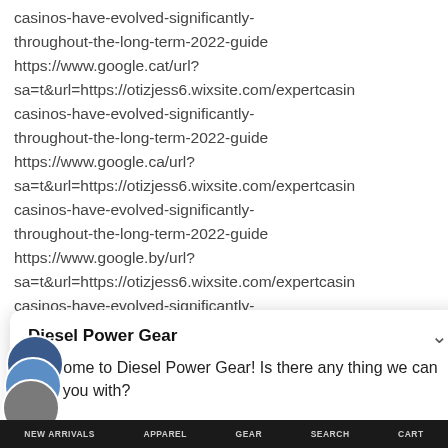casinos-have-evolved-significantly-throughout-the-long-term-2022-guide https://www.google.cat/url?sa=t&url=https://otizjess6.wixsite.com/expertcasin casinos-have-evolved-significantly-throughout-the-long-term-2022-guide https://www.google.ca/url?sa=t&url=https://otizjess6.wixsite.com/expertcasin casinos-have-evolved-significantly-throughout-the-long-term-2022-guide https://www.google.by/url?sa=t&url=https://otizjess6.wixsite.com/expertcasin casinos-have-evolved-significantly-throughout-the-long-term-2022-guide
Diesel Power Gear
Welcome to Diesel Power Gear! Is there any thing we can help you with?